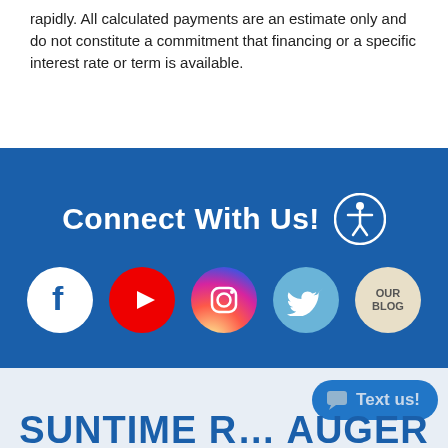rapidly. All calculated payments are an estimate only and do not constitute a commitment that financing or a specific interest rate or term is available.
[Figure (infographic): Connect With Us section with social media icons: Facebook, YouTube, Instagram, Twitter, and Our Blog, with an accessibility icon]
[Figure (infographic): Bottom section with a blue 'Text us!' chat button and partial dealership logo text]